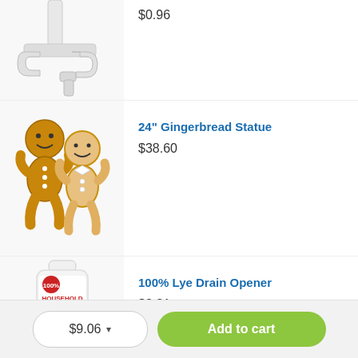[Figure (photo): Partial view of a white plastic clip/bracket product, cropped at top]
$0.96
[Figure (photo): Two gingerbread man statues, one solid brown with icing details, one lighter outline style]
24" Gingerbread Statue
$38.60
[Figure (photo): White bottle of 100% Lye Household Drain Opener with red and yellow label]
100% Lye Drain Opener
$2.31
$9.06
Add to cart